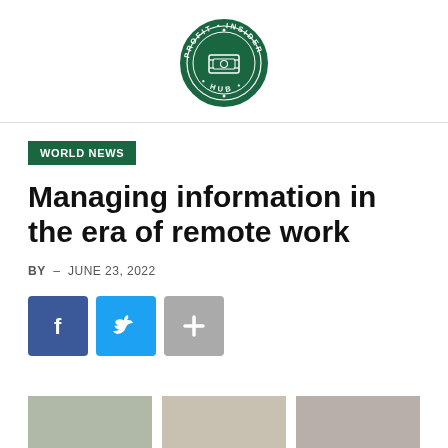[Figure (logo): Profit Insider Hub circular logo with green border, white text reading PROFIT INSIDER HUB around a money/cash icon in the center]
WORLD NEWS
Managing information in the era of remote work
BY  -  JUNE 23, 2022
[Figure (infographic): Social sharing buttons: Facebook (blue square with f), Twitter (blue square with bird icon), More (grey square with + icon)]
[Figure (photo): Three thumbnail images partially visible at the bottom of the page]